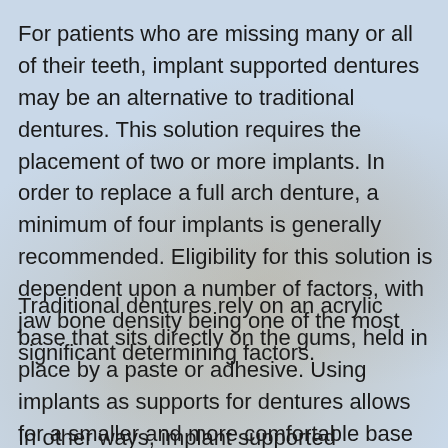For patients who are missing many or all of their teeth, implant supported dentures may be an alternative to traditional dentures. This solution requires the placement of two or more implants. In order to replace a full arch denture, a minimum of four implants is generally recommended. Eligibility for this solution is dependent upon a number of factors, with jaw bone density being one of the most significant determining factors.
Traditional dentures rely on an acrylic base that sits directly on the gums, held in place by a paste or adhesive. Using implants as supports for dentures allows for a smaller and more comfortable base and less shifting of the prosthesis during use.
In other ways, implant supported dentures...